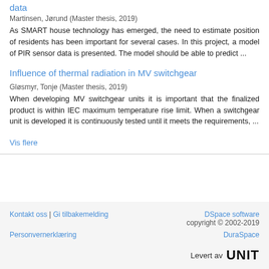data
Martinsen, Jørund (Master thesis, 2019)
As SMART house technology has emerged, the need to estimate position of residents has been important for several cases. In this project, a model of PIR sensor data is presented. The model should be able to predict ...
Influence of thermal radiation in MV switchgear
Gløsmyr, Tonje (Master thesis, 2019)
When developing MV switchgear units it is important that the finalized product is within IEC maximum temperature rise limit. When a switchgear unit is developed it is continuously tested until it meets the requirements, ...
Vis flere
Kontakt oss | Gi tilbakemelding | DSpace software copyright © 2002-2019 | Personvernerklæring | DuraSpace | Levert av UNIT